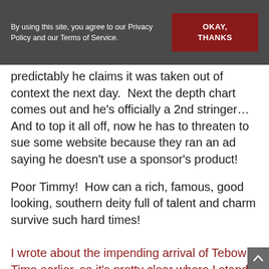By using this site, you agree to our Privacy Policy and our Terms of Service.
predictably he claims it was taken out of context the next day.  Next the depth chart comes out and he's officially a 2nd stringer…  And to top it all off, now he has to threaten to sue some website because they ran an ad saying he doesn't use a sponsor's product!
Poor Timmy!  How can a rich, famous, good looking, southern deity full of talent and charm survive such hard times!
I wrote about the impending arrival of Tebow Time earlier, so it's pretty clear where I stand on this whole